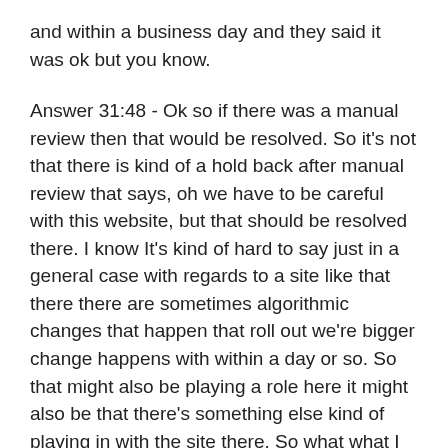and within a business day and they said it was ok but you know.
Answer 31:48 - Ok so if there was a manual review then that would be resolved. So it's not that there is kind of a hold back after manual review that says, oh we have to be careful with this website, but that should be resolved there. I know It's kind of hard to say just in a general case with regards to a site like that there there are sometimes algorithmic changes that happen that roll out we're bigger change happens with within a day or so. So that might also be playing a role here it might also be that there's something else kind of playing in with the site there. So what what I generally recommend doing is maybe starting a thread in the webmaster help forum with the URL of your site and some of the queries where you're seeing changes. So not just like we had this many queries and now it's like down to this but rather like people are searching for our